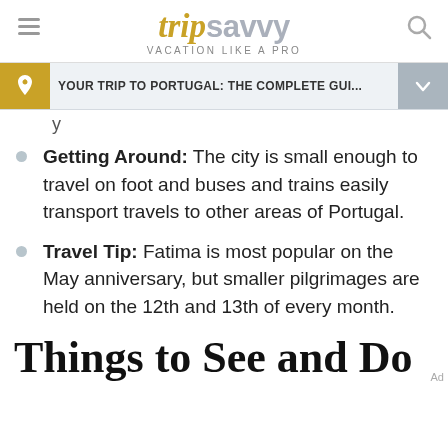tripsavvy VACATION LIKE A PRO
YOUR TRIP TO PORTUGAL: THE COMPLETE GUI...
Getting Around: The city is small enough to travel on foot and buses and trains easily transport travels to other areas of Portugal.
Travel Tip: Fatima is most popular on the May anniversary, but smaller pilgrimages are held on the 12th and 13th of every month.
Things to See and Do